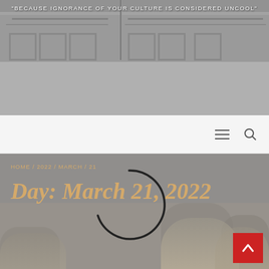[Figure (photo): Website header banner with architectural background photo, two columns of building interior]
"BECAUSE IGNORANCE OF YOUR CULTURE IS CONSIDERED UNCOOL"
[Figure (screenshot): Navigation bar with hamburger menu icon and search icon on light gray background]
HOME / 2022 / MARCH / 21
Day: March 21, 2022
[Figure (other): Loading spinner - partial circle arc overlay on page content]
[Figure (photo): Black and white photo of people in background with sepia tones]
[Figure (other): Red back-to-top button with upward arrow in bottom right corner]